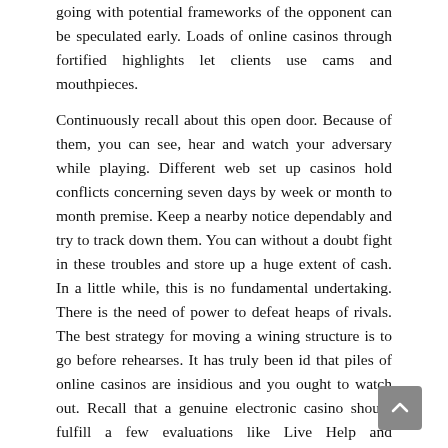going with potential frameworks of the opponent can be speculated early. Loads of online casinos through fortified highlights let clients use cams and mouthpieces.
Continuously recall about this open door. Because of them, you can see, hear and watch your adversary while playing. Different web set up casinos hold conflicts concerning seven days by week or month to month premise. Keep a nearby notice dependably and try to track down them. You can without a doubt fight in these troubles and store up a huge extent of cash. In a little while, this is no fundamental undertaking. There is the need of power to defeat heaps of rivals. The best strategy for moving a wining structure is to go before rehearses. It has truly been id that piles of online casinos are insidious and you ought to watch out. Recall that a genuine electronic casino should fulfill a few evaluations like Live Help and Convenient Payouts. Both of these are essentially basic and their existences display that the casino is significant. You can in addition